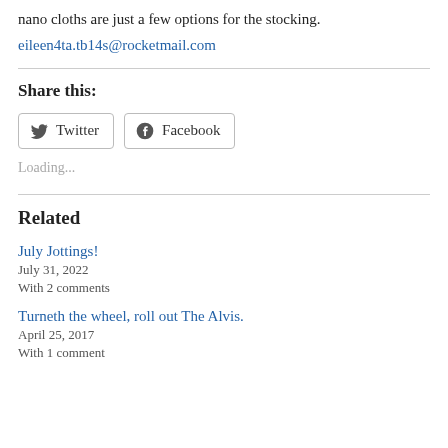nano cloths are just a few options for the stocking.
eileen4ta.tb14s@rocketmail.com
Share this:
Twitter  Facebook
Loading...
Related
July Jottings!
July 31, 2022
With 2 comments
Turneth the wheel, roll out The Alvis.
April 25, 2017
With 1 comment